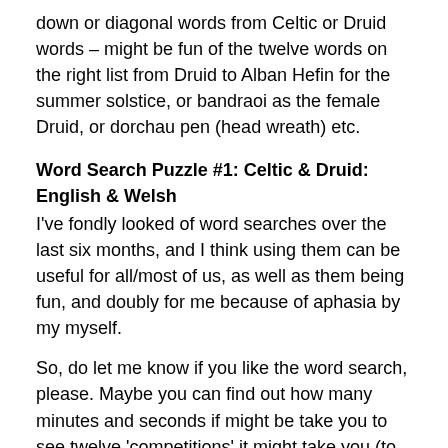down or diagonal words from Celtic or Druid words – might be fun of the twelve words on the right list from Druid to Alban Hefin for the summer solstice, or bandraoi as the female Druid, or dorchau pen (head wreath) etc.
Word Search Puzzle #1: Celtic & Druid: English & Welsh
I've fondly looked of word searches over the last six months, and I think using them can be useful for all/most of us, as well as them being fun, and doubly for me because of aphasia by my myself.
So, do let me know if you like the word search, please. Maybe you can find out how many minutes and seconds if might be take you to see twelve ‘competitions’ it might take you (to yourself) or letter an email to me so we’re not competitive.